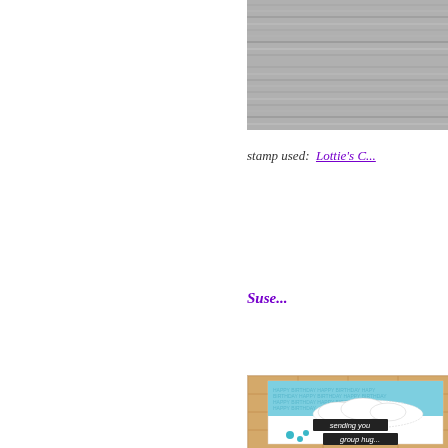[Figure (photo): Top photo showing a grey wood-grain textured surface, partially visible on the right side of the page]
stamp used:  Lottie's C...
Suse...
[Figure (photo): Photo of a handmade birthday card with blue 'Happy Birthday' patterned background, cloud die-cut, and two black label stamps reading 'sending you' and 'group hug', with teal dots, against a brick wall background]